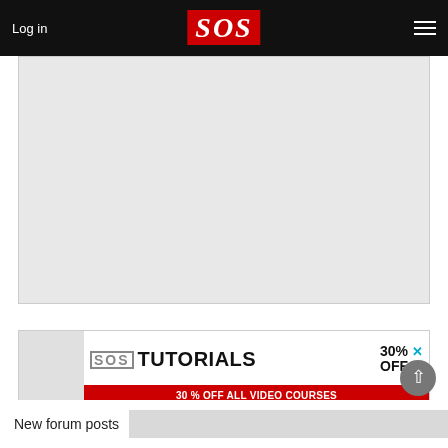Log in | SOS (Sound On Sound) | Menu
[Figure (other): Gray placeholder image area for article or advertisement content]
[Figure (other): SOS Tutorials advertisement banner: 30% OFF ALL VIDEO COURSES - DAWs - Plug-Ins - Synths and more! www.soundonsound.com/tutorials]
New forum posts